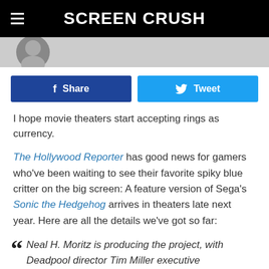SCREEN CRUSH
[Figure (screenshot): Partial avatar/profile image strip at top of article]
Share   Tweet
I hope movie theaters start accepting rings as currency.
The Hollywood Reporter has good news for gamers who've been waiting to see their favorite spiky blue critter on the big screen: A feature version of Sega's Sonic the Hedgehog arrives in theaters late next year. Here are all the details we've got so far:
“ Neal H. Moritz is producing the project, with Deadpool director Tim Miller executive producing. Also executive producing is Toby Ascher, while Dmitri Johnson and Dan Jevons will